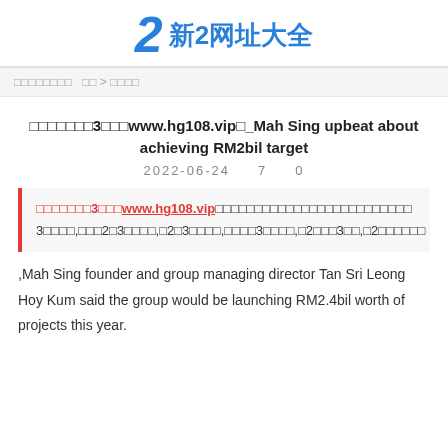2 新2网址大全
□□□□□□□□  □□ > □□□□
□□□□□□□3□□□www.hg108.vip□_Mah Sing upbeat about achieving RM2bil target
2022-06-24    7    0
□□□□□□□3□□□www.hg108.vip□□□□□□□□□□□□□□□□□□□□□□□□□ 3□□□□,□□□2□3□□□□,□2□3□□□□,□□□□3□□□□,□2□□□3□□,□2□□□□□□
,Mah Sing founder and group managing director Tan Sri Leong Hoy Kum said the group would be launching RM2.4bil worth of projects this year.